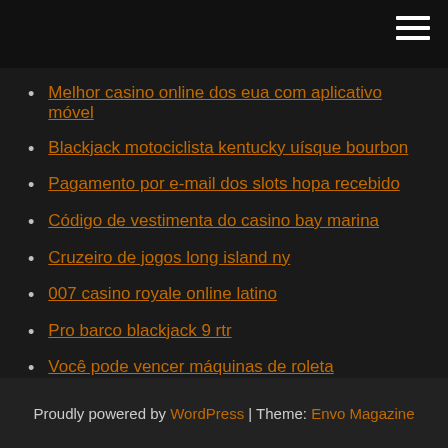Melhor casino online dos eua com aplicativo móvel
Blackjack motociclista kentucky uísque bourbon
Pagamento por e-mail dos slots hopa recebido
Código de vestimenta do casino bay marina
Cruzeiro de jogos long island ny
007 casino royale online latino
Pro barco blackjack 9 rtr
Você pode vencer máquinas de roleta
Coroa cassino blackjack 22 push
Lago louise alaska poker correr
Slot machine de dados quente
Proudly powered by WordPress | Theme: Envo Magazine